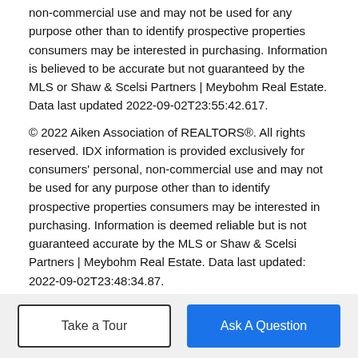non-commercial use and may not be used for any purpose other than to identify prospective properties consumers may be interested in purchasing. Information is believed to be accurate but not guaranteed by the MLS or Shaw & Scelsi Partners | Meybohm Real Estate. Data last updated 2022-09-02T23:55:42.617.
© 2022 Aiken Association of REALTORS®. All rights reserved. IDX information is provided exclusively for consumers' personal, non-commercial use and may not be used for any purpose other than to identify prospective properties consumers may be interested in purchasing. Information is deemed reliable but is not guaranteed accurate by the MLS or Shaw & Scelsi Partners | Meybohm Real Estate. Data last updated: 2022-09-02T23:48:34.87.
BoomTown! © 2022 | Terms of Use | Privacy Policy | Accessibility | DMCA | Listings Sitemap
Take a Tour | Ask A Question